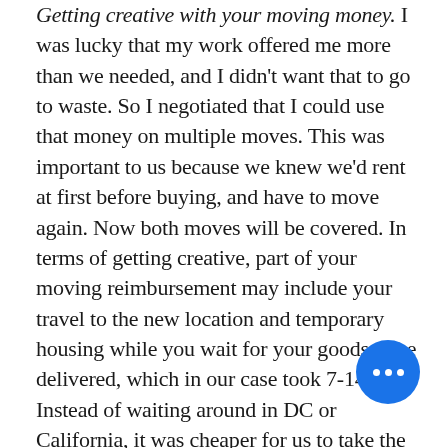Getting creative with your moving money. I was lucky that my work offered me more than we needed, and I didn't want that to go to waste. So I negotiated that I could use that money on multiple moves. This was important to us because we knew we'd rent at first before buying, and have to move again. Now both moves will be covered. In terms of getting creative, part of your moving reimbursement may include your travel to the new location and temporary housing while you wait for your goods to be delivered, which in our case took 7-14 days. Instead of waiting around in DC or California, it was cheaper for us to take the family on vacation. Check with your company — in my case, I provided them the
[Figure (other): Blue circular floating action button with three white dots (ellipsis/more options icon)]